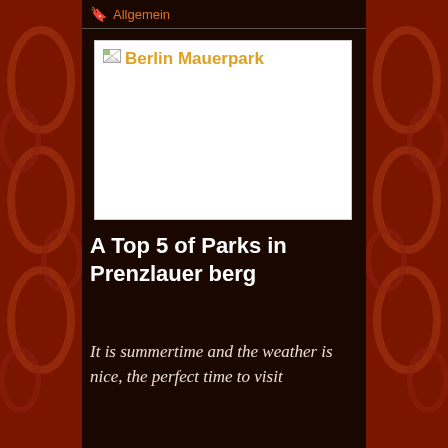Allgemein
[Figure (photo): Berlin Mauerpark image placeholder with broken image icon and orange title text]
A Top 5 of Parks in Prenzlauer berg
It is summertime and the weather is nice, the perfect time to visit